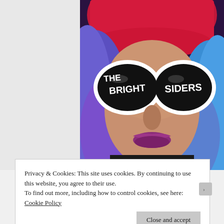[Figure (illustration): Book cover for 'The Brightsiders' showing a woman with colorful blue, purple, and pink hair and bold white-framed sunglasses. The left lens reads 'THE BRIGHT' and the right lens reads 'SIDERS' in white text on black. She has purple lipstick.]
Privacy & Cookies: This site uses cookies. By continuing to use this website, you agree to their use.
To find out more, including how to control cookies, see here: Cookie Policy
Close and accept